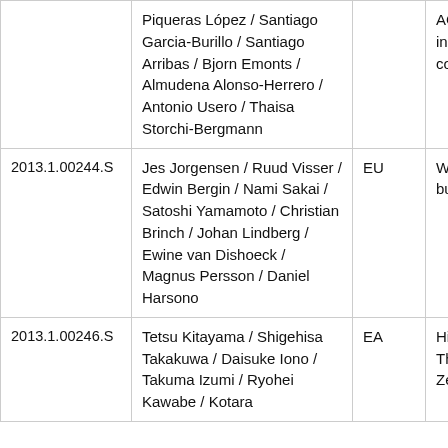| ID | Authors | Region | Description |
| --- | --- | --- | --- |
|  | Piqueras López / Santiago Garcia-Burillo / Santiago Arribas / Bjorn Emonts / Almudena Alonso-Herrero / Antonio Usero / Thaisa Storchi-Bergmann |  | AGN multi- in the 5135. cold m |
| 2013.1.00244.S | Jes Jorgensen / Ruud Visser / Edwin Bergin / Nami Sakai / Satoshi Yamamoto / Christian Brinch / Johan Lindberg / Ewine van Dishoeck / Magnus Persson / Daniel Harsono | EU | Water protos burst |
| 2013.1.00246.S | Tetsu Kitayama / Shigehisa Takakuwa / Daisuke Iono / Takuma Izumi / Ryohei Kawabe / Kotaro ... | EA | Highe Imagi Therm Zel'do |